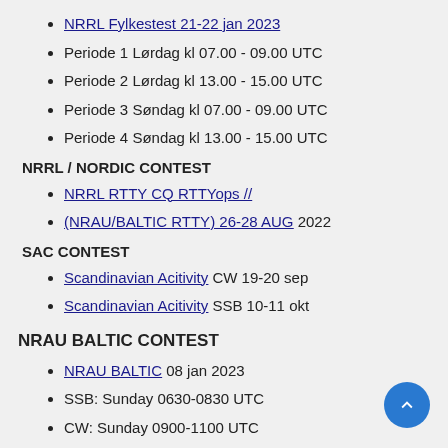NRRL Fylkestest 21-22 jan 2023
Periode 1 Lørdag kl 07.00 - 09.00 UTC
Periode 2 Lørdag kl 13.00 - 15.00 UTC
Periode 3 Søndag kl 07.00 - 09.00 UTC
Periode 4 Søndag kl 13.00 - 15.00 UTC
NRRL / NORDIC CONTEST
NRRL RTTY CQ RTTYops //
(NRAU/BALTIC RTTY) 26-28 AUG 2022
SAC CONTEST
Scandinavian Acitivity CW 19-20 sep
Scandinavian Acitivity SSB 10-11 okt
NRAU BALTIC CONTEST
NRAU BALTIC 08 jan 2023
SSB: Sunday 0630-0830 UTC
CW: Sunday 0900-1100 UTC
SARTG RTTY Nytt år